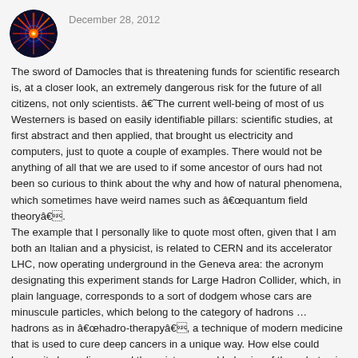[Figure (photo): Circular avatar image showing a colorful starburst/explosion graphic with red, orange, and blue colors on a dark background.]
December 28, 2012
The sword of Damocles that is threatening funds for scientific research is, at a closer look, an extremely dangerous risk for the future of all citizens, not only scientists. â€˜The current well-being of most of us Westerners is based on easily identifiable pillars: scientific studies, at first abstract and then applied, that brought us electricity and computers, just to quote a couple of examples. There would not be anything of all that we are used to if some ancestor of ours had not been so curious to think about the why and how of natural phenomena, which sometimes have weird names such as â€œquantum field theoryâ€.
The example that I personally like to quote most often, given that I am both an Italian and a physicist, is related to CERN and its accelerator LHC, now operating underground in the Geneva area: the acronym designating this experiment stands for Large Hadron Collider, which, in plain language, corresponds to a sort of dodgem whose cars are minuscule particles, which belong to the category of hadrons … hadrons as in â€œhadro-therapyâ€, a technique of modern medicine that is used to cure deep cancers in a unique way. How else could humanity have discovered the existence and behavior of the subatomic world other than walking down the path that has brought to build the LHC in order